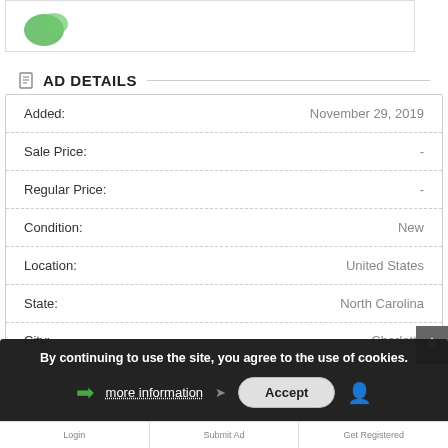[Figure (illustration): Partial top image area showing green logo/graphic at top of page]
AD DETAILS
| Field | Value |
| --- | --- |
| Added: | November 29, 2019 |
| Sale Price: | - |
| Regular Price: | - |
| Condition: | New |
| Location: | United States |
| State: | North Carolina |
| City: | Charlotte |
By continuing to use the site, you agree to the use of cookies.
more information
Accept
Login   Submit Ad   Get Registered